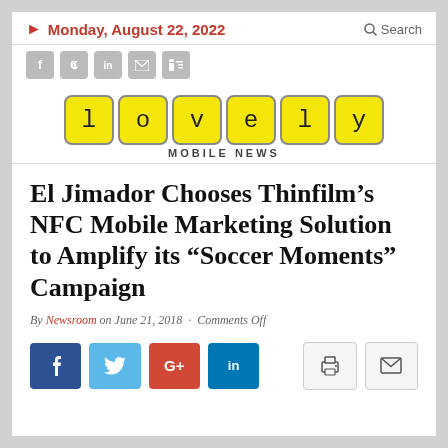Monday, August 22, 2022
[Figure (logo): Lovely Mobile News logo with yellow letter tiles spelling 'lovely' and subtitle MOBILE NEWS]
El Jimador Chooses Thinfilm’s NFC Mobile Marketing Solution to Amplify its “Soccer Moments” Campaign
By Newsroom on June 21, 2018 · Comments Off
[Figure (infographic): Social share buttons: Facebook, Twitter, Google+, LinkedIn, Print, Mail]